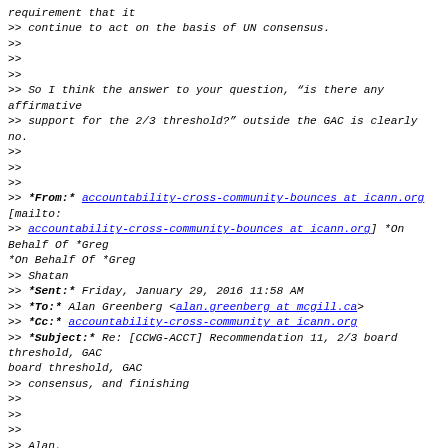requirement that it
>> continue to act on the basis of UN consensus.
>>
>>
>>
>> So I think the answer to your question, “is there any affirmative
>> support for the 2/3 threshold?” outside the GAC is clearly no.
>>
>>
>>
>> *From:* accountability-cross-community-bounces at icann.org [mailto:
>> accountability-cross-community-bounces at icann.org] *On Behalf Of *Greg
>> Shatan
>> *Sent:* Friday, January 29, 2016 11:58 AM
>> *To:* Alan Greenberg <alan.greenberg at mcgill.ca>
>> *Cc:* accountability-cross-community at icann.org
>> *Subject:* Re: [CCWG-ACCT] Recommendation 11, 2/3 board threshold, GAC
consensus, and finishing
>>
>>
>>
>> Alan,
>>
>>
>>
>> I think...